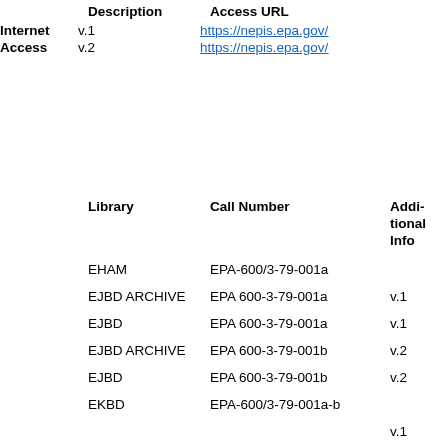|  | Description | Access URL |
| --- | --- | --- |
| Internet Access | v.1 | https://nepis.epa.gov/ |
|  | v.2 | https://nepis.epa.gov/ |
|  | Library | Call Number | Additional Info |
| --- | --- | --- | --- |
|  | EHAM | EPA-600/3-79-001a |  |
|  | EJBD ARCHIVE | EPA 600-3-79-001a | v.1 |
|  | EJBD | EPA 600-3-79-001a | v.1 |
|  | EJBD ARCHIVE | EPA 600-3-79-001b | v.2 |
|  | EJBD | EPA 600-3-79-001b | v.2 |
|  | EKBD | EPA-600/3-79-001a-b |  |
|  |  |  | v.1 |